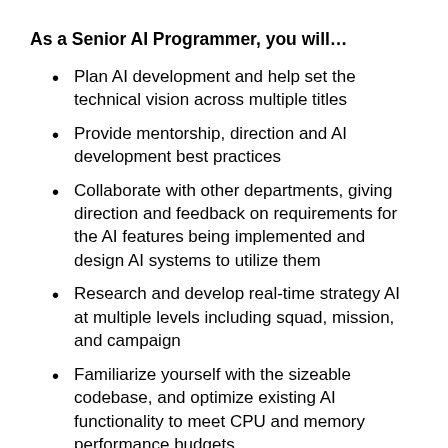As a Senior AI Programmer, you will…
Plan AI development and help set the technical vision across multiple titles
Provide mentorship, direction and AI development best practices
Collaborate with other departments, giving direction and feedback on requirements for the AI features being implemented and design AI systems to utilize them
Research and develop real-time strategy AI at multiple levels including squad, mission, and campaign
Familiarize yourself with the sizeable codebase, and optimize existing AI functionality to meet CPU and memory performance budgets
Maintain and update tools for AI debugging and development